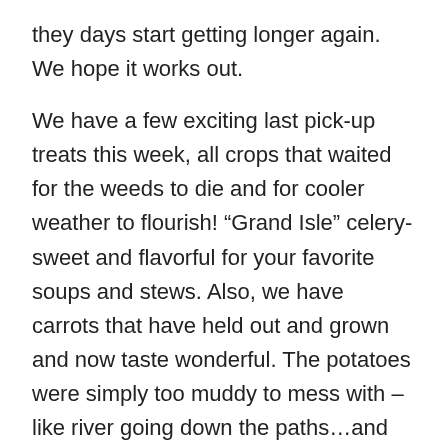they days start getting longer again. We hope it works out.
We have a few exciting last pick-up treats this week, all crops that waited for the weeds to die and for cooler weather to flourish! “Grand Isle” celery- sweet and flavorful for your favorite soups and stews. Also, we have carrots that have held out and grown and now taste wonderful. The potatoes were simply too muddy to mess with – like river going down the paths…and the green onions are taking an extended bath in the field.
ANNOUNCING: FALL HOEDOWN/FARM WORK PARTY October 29 from 8am – 12noon then a potluck lunch, pickup some potatoes and english peas and music
Meeting at the farmstand at 8am – we have various tasks to complete and would love all of your help putting parts of the farm to “bed” for the season. We will have all sorts